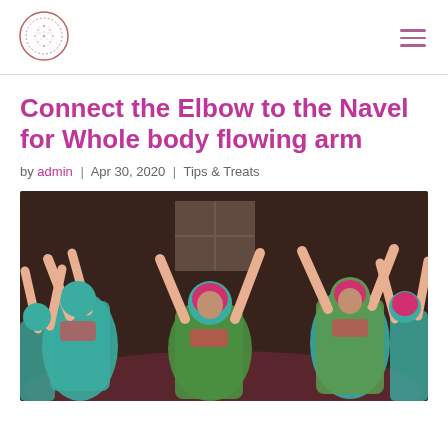[Logo] [Hamburger menu icon]
Connect the Elbow to the Navel for Whole body flowing arm
by admin | Apr 30, 2020 | Tips & Treats
[Figure (photo): Group of women wearing green and teal flowing garments with pink/red tops and head coverings, arms raised in a dance performance in a dimly lit room with a window in background.]